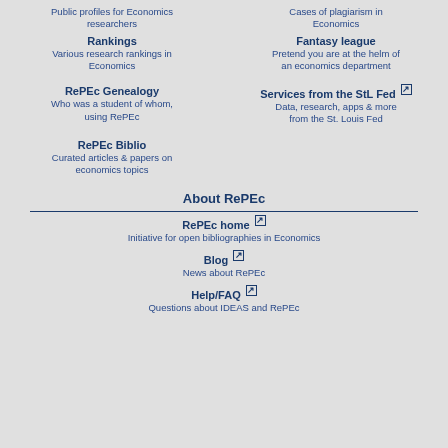Public profiles for Economics researchers
Cases of plagiarism in Economics
Rankings
Various research rankings in Economics
Fantasy league
Pretend you are at the helm of an economics department
RePEc Genealogy
Who was a student of whom, using RePEc
Services from the StL Fed
Data, research, apps & more from the St. Louis Fed
RePEc Biblio
Curated articles & papers on economics topics
About RePEc
RePEc home
Initiative for open bibliographies in Economics
Blog
News about RePEc
Help/FAQ
Questions about IDEAS and RePEc